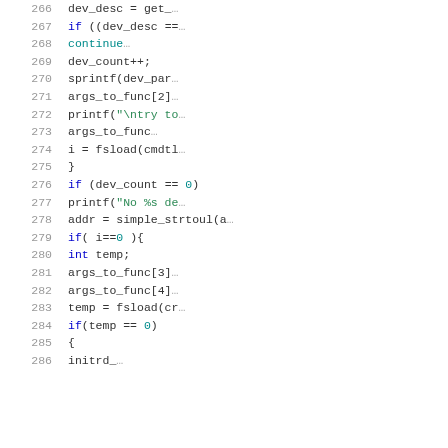[Figure (screenshot): Source code listing showing lines 266-286 of a C program with syntax highlighting. Line numbers in gray on the left, code in black/blue/teal on the right. Content includes device enumeration, sprintf, printf, fsload, and initrd calls.]